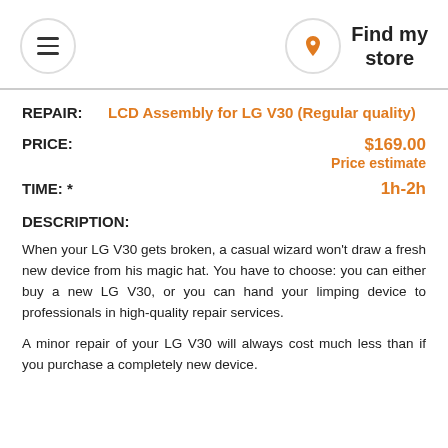Find my store
REPAIR: LCD Assembly for LG V30 (Regular quality)
PRICE: $169.00 Price estimate
TIME: * 1h-2h
DESCRIPTION:
When your LG V30 gets broken, a casual wizard won’t draw a fresh new device from his magic hat. You have to choose: you can either buy a new LG V30, or you can hand your limping device to professionals in high-quality repair services.
A minor repair of your LG V30 will always cost much less than if you purchase a completely new device.